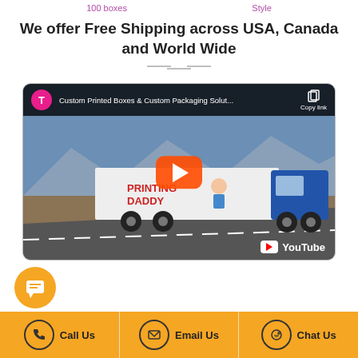100 boxes   Style
We offer Free Shipping across USA, Canada and World Wide
[Figure (screenshot): YouTube video thumbnail showing a Printing Daddy branded semi-truck on a highway, with play button overlay and video title 'Custom Printed Boxes & Custom Packaging Solut...']
[Figure (other): Orange circular chat/message bubble button]
Call Us   Email Us   Chat Us